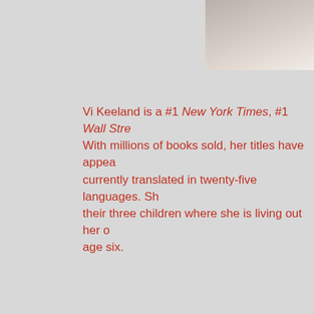[Figure (photo): Partial photo of a person in white clothing, cropped to show midsection, positioned in top-right corner]
Vi Keeland is a #1 New York Times, #1 Wall Stre... With millions of books sold, her titles have appea... currently translated in twenty-five languages. Sh... their three children where she is living out her o... age six.
FACEBOOK
PROFILE / PAGE
WEBSITE
TWITTER
INSTAGRAM
GOODREADS